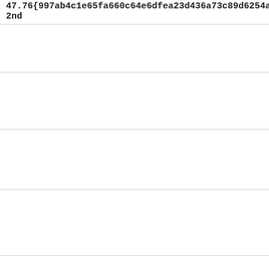47.76{997ab4c1e65fa660c64e6dfea23d436a73c89d6254a
2nd